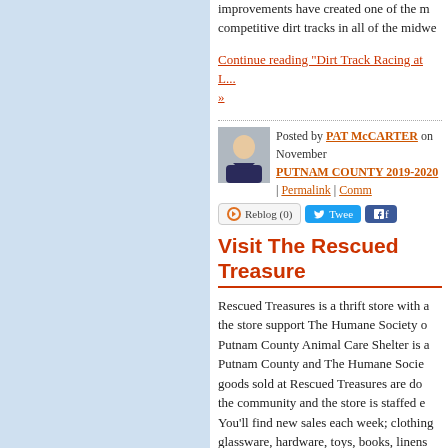improvements have created one of the most competitive dirt tracks in all of the midwe...
Continue reading "Dirt Track Racing at L... »
Posted by PAT McCARTER on November... PUTNAM COUNTY 2019-2020 | Permalink | Comm...
Reblog (0)  Tweet  f
Visit The Rescued Treasure...
Rescued Treasures is a thrift store with a... the store support The Humane Society o... Putnam County Animal Care Shelter is a... Putnam County and The Humane Socie... goods sold at Rescued Treasures are do... the community and the store is staffed e... You'll find new sales each week; clothing... glassware, hardware, toys, books, linens... decorations are available.
Continue reading "Visit The Rescued Tre...